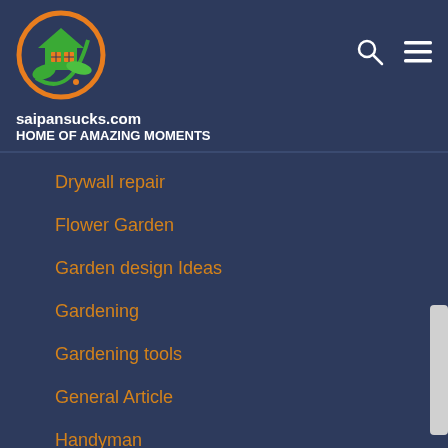[Figure (logo): House/home logo with orange crescent, green house with grid window and green leaf, circular design]
saipansucks.com
HOME OF AMAZING MOMENTS
Drywall repair
Flower Garden
Garden design Ideas
Gardening
Gardening tools
General Article
Handyman
Home Improvements
Home Planning
Home Repair
Interior Design